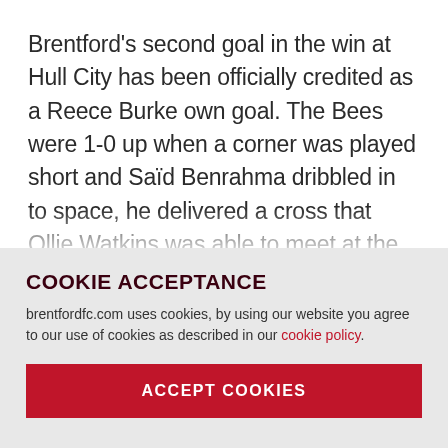Brentford's second goal in the win at Hull City has been officially credited as a Reece Burke own goal. The Bees were 1-0 up when a corner was played short and Saïd Benrahma dribbled in to space, he delivered a cross that Ollie Watkins was able to meet at the far post. The header
COOKIE ACCEPTANCE
brentfordfc.com uses cookies, by using our website you agree to our use of cookies as described in our cookie policy.
ACCEPT COOKIES